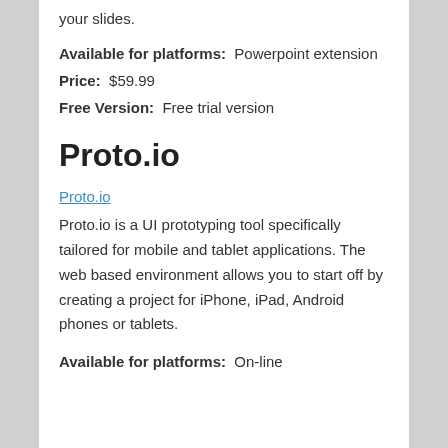your slides.
Available for platforms:  Powerpoint extension
Price:  $59.99
Free Version:  Free trial version
Proto.io
Proto.io
Proto.io is a UI prototyping tool specifically tailored for mobile and tablet applications. The web based environment allows you to start off by creating a project for iPhone, iPad, Android phones or tablets.
Available for platforms:  On-line